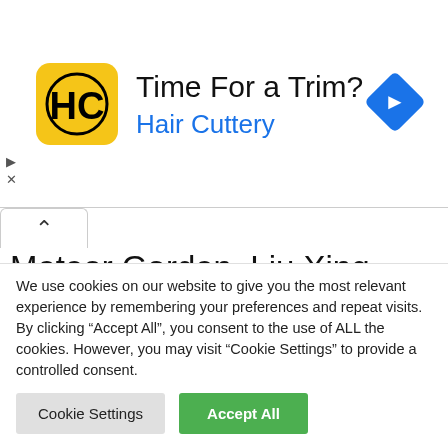[Figure (advertisement): Hair Cuttery advertisement banner with yellow HC logo, text 'Time For a Trim?' and 'Hair Cuttery' in blue, and a blue navigation diamond icon on the right.]
Meteor Garden, Liu Xing Hua Yuan, Watchasian, Myasiantv, Fastdrama, Meteor Garden Chinese Drama, Watch Liu Xing Hua Yuan, 流星花园 Eng Sub, Meteor Garden Online Ep 1. Ep 2. Ep 3. Ep 4. Watch
We use cookies on our website to give you the most relevant experience by remembering your preferences and repeat visits. By clicking “Accept All”, you consent to the use of ALL the cookies. However, you may visit “Cookie Settings” to provide a controlled consent.